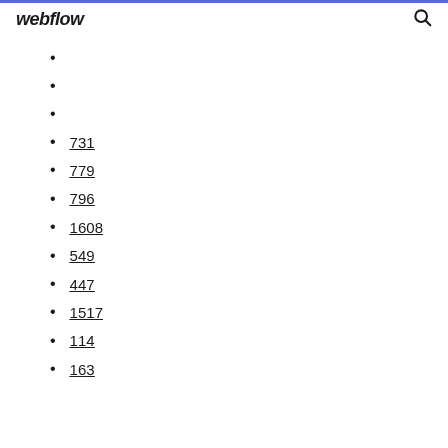webflow
731
779
796
1608
549
447
1517
114
163